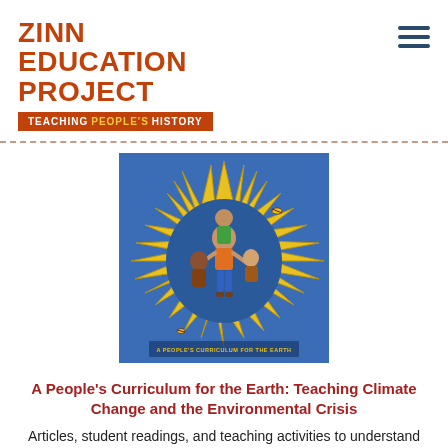ZINN EDUCATION PROJECT
TEACHING PEOPLE'S HISTORY
[Figure (illustration): Book cover illustration showing diverse people and a sun-like star shape on a blue background, with text at the bottom reading 'A PEOPLE'S CURRICULUM FOR THE EARTH']
A People's Curriculum for the Earth: Teaching Climate Change and the Environmental Crisis
Articles, student readings, and teaching activities to understand environmental problems and imagine solutions.